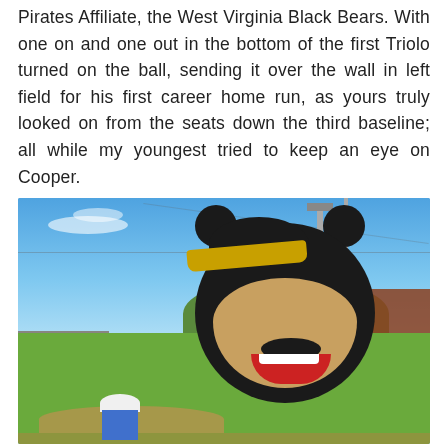Pirates Affiliate, the West Virginia Black Bears. With one on and one out in the bottom of the first Triolo turned on the ball, sending it over the wall in left field for his first career home run, as yours truly looked on from the seats down the third baseline; all while my youngest tried to keep an eye on Cooper.
[Figure (photo): Photo of a West Virginia Black Bears baseball mascot (large black bear in team cap with yellow brim) posing with a child in front of the baseball field. Blue sky, green hill, stadium visible in background.]